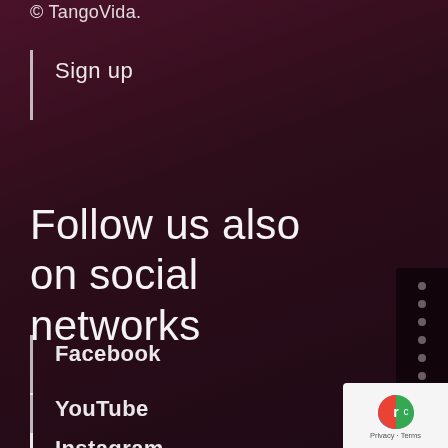© TangoVida.
Sign up
Follow us also on social networks
Facebook
YouTube
Instagram
[Figure (other): Google reCAPTCHA badge with Privacy and Terms links]